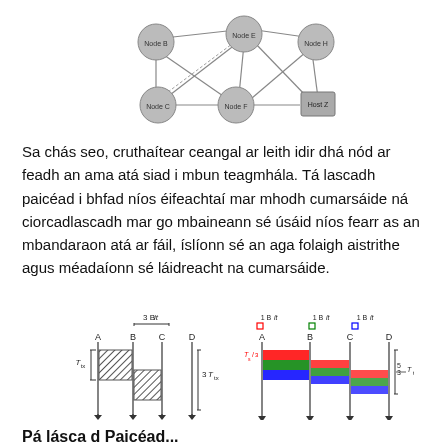[Figure (network-graph): Network graph with circular nodes (Node B, Node E, Node H, Node C, Node F) connected by lines, and one rectangular node (Host Z) connected to Node F and Node H.]
Sa chás seo, cruthaítear ceangal ar leith idir dhá nód ar feadh an ama atá siad i mbun teagmhála. Tá lascadh paicéad i bhfad níos éifeachtaí mar mhodh cumarsáide ná ciorcadlascadh mar go mbaineann sé úsáid níos fearr as an mbandaraon atá ar fáil, íslíonn sé an aga folaigh aistrithe agus méadaíonn sé láidreacht na cumarsáide.
[Figure (infographic): Diagram illustrating circuit switching vs packet switching timing. Left side shows nodes A, B, C, D with hatched transmission areas labeled T_tx and 3T_tx, with '3 BIT' label. Right side shows nodes A, B, C, D with colored (red, green, blue) packet strips labeled '1 Bit' each, with timing annotation 5/3 T_tx.]
Pá lásca d Paicéad...